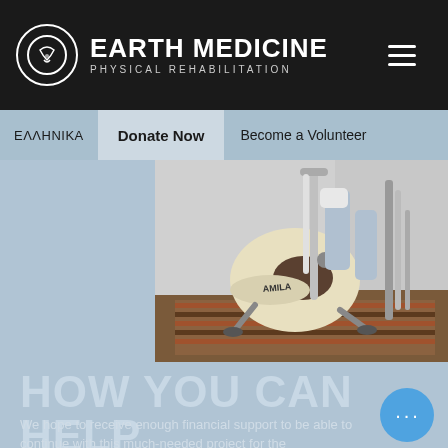EARTH MEDICINE PHYSICAL REHABILITATION
ΕΛΛΗΝΙΚΑ | Donate Now | Become a Volunteer
[Figure (photo): Photo of a stationary exercise bike (branded AMILA) in a physical rehabilitation gym, with striped floor mat and exercise equipment in background.]
HOW YOU CAN HELP
We hope to receive enough financial support to be able to continue with this much-needed project for the